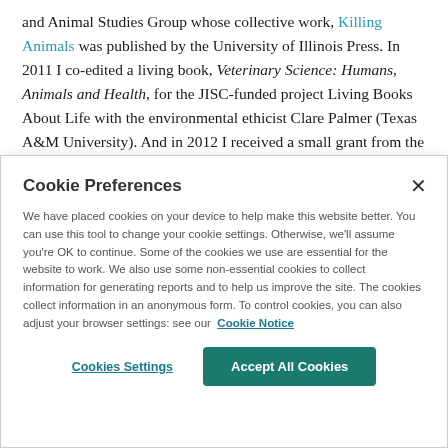and Animal Studies Group whose collective work, Killing Animals was published by the University of Illinois Press. In 2011 I co-edited a living book, Veterinary Science: Humans, Animals and Health, for the JISC-funded project Living Books About Life with the environmental ethicist Clare Palmer (Texas A&M University). And in 2012 I received a small grant from the Wellcome Trust to undertake a project with the
Cookie Preferences
We have placed cookies on your device to help make this website better. You can use this tool to change your cookie settings. Otherwise, we'll assume you're OK to continue. Some of the cookies we use are essential for the website to work. We also use some non-essential cookies to collect information for generating reports and to help us improve the site. The cookies collect information in an anonymous form. To control cookies, you can also adjust your browser settings: see our Cookie Notice
Cookies Settings
Accept All Cookies